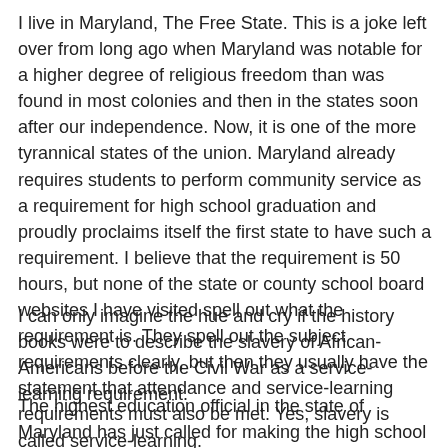I live in Maryland, The Free State. This is a joke left over from long ago when Maryland was notable for a higher degree of religious freedom than was found in most colonies and then in the states soon after our independence. Now, it is one of the more tyrannical states of the union. Maryland already requires students to perform community service as a requirement for high school graduation and proudly proclaims itself the first state to have such a requirement. I believe that the requirement is 50 hours, but none of the state or county school board websites I have visited spell out what the requirement is. They spell out the subject requirements clearly, but then they usually have the statement that attendance and service-learning requirements must also be met. Yes, slavery is called service-learning.
I can only imagine the hue and cry if the history books were to describe the slavery of African-Americans before the Civil War as a service-learning requirement.
The highest education official in the state of Maryland has just called for making the high school graduation requirement in the state 100 hours of community service. It appears he is